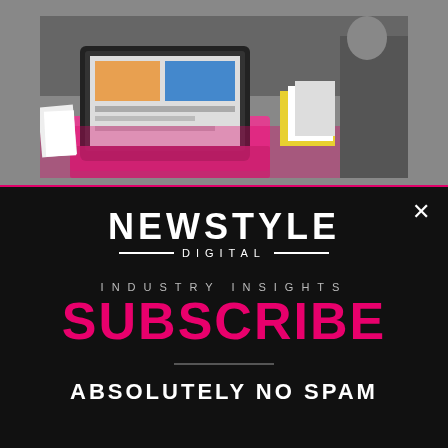[Figure (photo): Photograph of a person working at a desk with a laptop computer (pink/dark) and books. Background is dark gray. Image has a pink/magenta glow at the bottom.]
[Figure (logo): NEWSTYLE DIGITAL logo in white bold uppercase letters, with decorative horizontal lines flanking the word DIGITAL underneath.]
INDUSTRY INSIGHTS
SUBSCRIBE
ABSOLUTELY NO SPAM